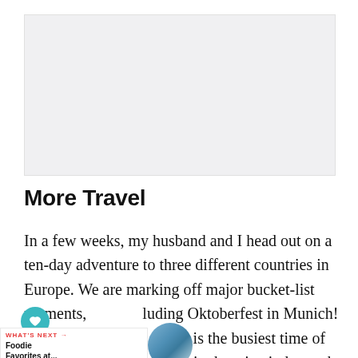[Figure (other): Light gray advertisement or placeholder box]
More Travel
In a few weeks, my husband and I head out on a ten-day adventure to three different countries in Europe. We are marking off major bucket-list moments, including Oktoberfest in Munich! October through November is the busiest time of year for my husband’s job in the wine industry, but weekend kinda my thing. In addition to weekend fun, we’re trying to decide if we’ll be
[Figure (other): Heart/save icon button (teal circle with heart)]
[Figure (other): Share icon button (white circle with share symbol)]
[Figure (other): What's Next widget with label 'WHAT'S NEXT' and title 'Foodie Favorites at...' with circular thumbnail image of a resort/pool]